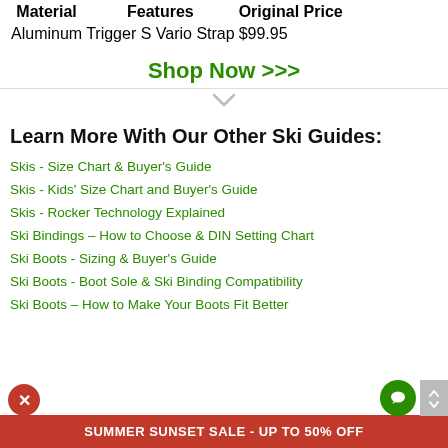| Material | Features | Original Price |
| --- | --- | --- |
| Aluminum | Trigger S Vario Strap | $99.95 |
Shop Now >>>
Learn More With Our Other Ski Guides:
Skis - Size Chart & Buyer's Guide
Skis - Kids' Size Chart and Buyer's Guide
Skis - Rocker Technology Explained
Ski Bindings – How to Choose & DIN Setting Chart
Ski Boots - Sizing & Buyer's Guide
Ski Boots - Boot Sole & Ski Binding Compatibility
Ski Boots – How to Make Your Boots Fit Better
SUMMER SUNSET SALE - UP TO 50% OFF